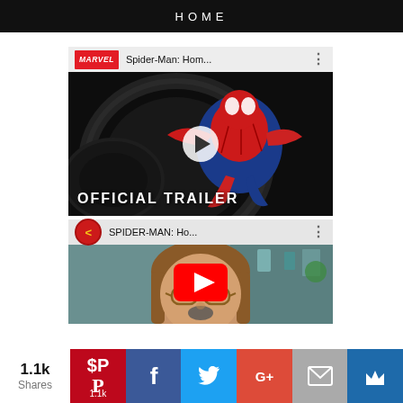HOME
[Figure (screenshot): YouTube video thumbnail for Spider-Man: Homecoming Official Trailer (MARVEL channel). Shows Spider-Man in a cylindrical tunnel, with 'OFFICIAL TRAILER' text overlay and a play button.]
[Figure (screenshot): YouTube video thumbnail for SPIDER-MAN: Homecoming from Kinocheck channel. Shows a woman with glasses and a YouTube play button overlay.]
1.1k
Shares
1.1k